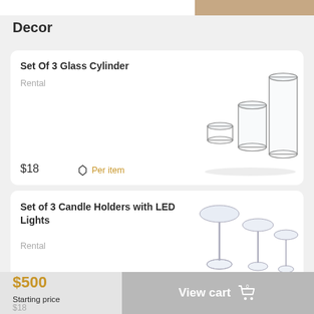Decor
Set Of 3 Glass Cylinder
Rental
$18
Per item
[Figure (photo): Three clear glass cylinder vases of different heights]
Set of 3 Candle Holders with LED Lights
Rental
[Figure (photo): Three glass candle holders with stems]
$500
Starting price
$18
View cart 0